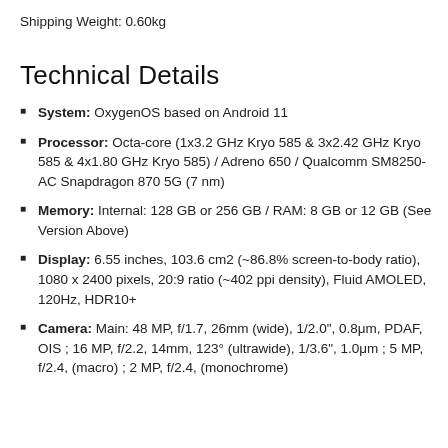Shipping Weight: 0.60kg
Technical Details
System: OxygenOS based on Android 11
Processor: Octa-core (1x3.2 GHz Kryo 585 & 3x2.42 GHz Kryo 585 & 4x1.80 GHz Kryo 585) / Adreno 650 / Qualcomm SM8250-AC Snapdragon 870 5G (7 nm)
Memory: Internal: 128 GB or 256 GB / RAM: 8 GB or 12 GB (See Version Above)
Display: 6.55 inches, 103.6 cm2 (~86.8% screen-to-body ratio), 1080 x 2400 pixels, 20:9 ratio (~402 ppi density), Fluid AMOLED, 120Hz, HDR10+
Camera: Main: 48 MP, f/1.7, 26mm (wide), 1/2.0", 0.8μm, PDAF, OIS ; 16 MP, f/2.2, 14mm, 123° (ultrawide), 1/3.6", 1.0μm ; 5 MP, f/2.4, (macro) ; 2 MP, f/2.4, (monochrome)